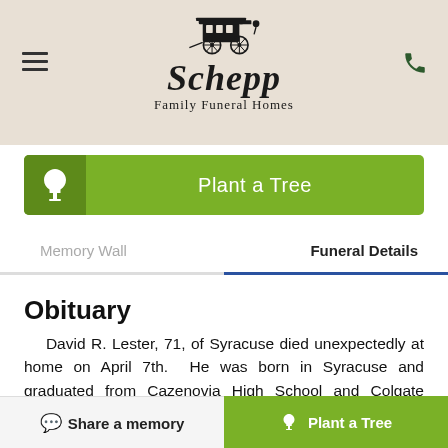[Figure (logo): Schepp Family Funeral Homes logo with vintage horse carriage illustration above the name]
[Figure (infographic): Green 'Plant a Tree' button with tree icon on darker green left panel]
Memory Wall
Funeral Details
Obituary
David R. Lester, 71, of Syracuse died unexpectedly at home on April 7th.  He was born in Syracuse and graduated from Cazenovia High School and Colgate University.  Dave retired from Key Bank after a 30 year
[Figure (infographic): Bottom navigation bar with 'Share a memory' button on left and green 'Plant a Tree' button on right]